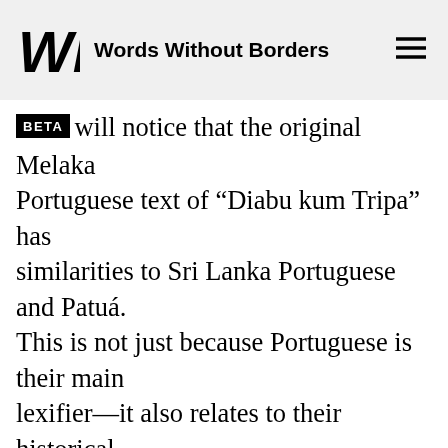Words Without Borders
will notice that the original Melaka Portuguese text of “Diabu kum Tripa” has similarities to Sri Lanka Portuguese and Patuá. This is not just because Portuguese is their main lexifier—it also relates to their historical development as the Portuguese traveled through South, Southeast, and East Asia. Along the way, the contact languages that developed were already likely to be a mixed variety, which then continued to evolve through further contact with local languages, peoples, and cultures. Five hundred years on, these three Portuguese-based languages, as well as Chetti Malay, are at risk of